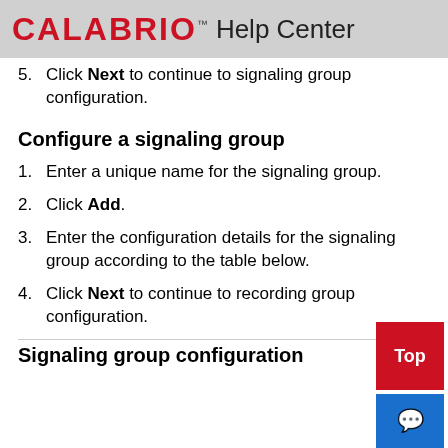CALABRIO™ Help Center
5. Click Next to continue to signaling group configuration.
Configure a signaling group
1. Enter a unique name for the signaling group.
2. Click Add.
3. Enter the configuration details for the signaling group according to the table below.
4. Click Next to continue to recording group configuration.
Signaling group configuration